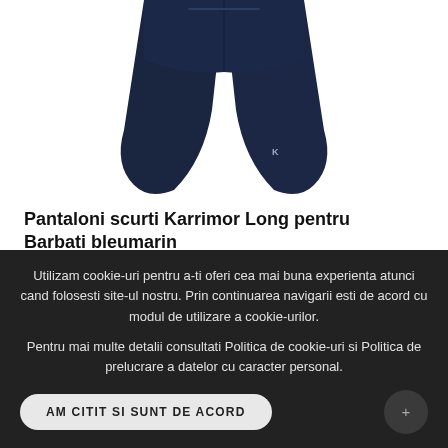[Figure (photo): Navy blue Karrimor Long shorts for men, shown from front, waistband and leg openings visible, small logo on lower right leg]
Pantaloni scurti Karrimor Long pentru Barbati bleumarin
M, L
118 RON
Utilizam cookie-uri pentru a-ti oferi cea mai buna experienta atunci cand folosesti site-ul nostru. Prin continuarea navigarii esti de acord cu modul de utilizare a cookie-urilor.
Pentru mai multe detalii consultati Politica de cookie-uri si Politica de prelucrare a datelor cu caracter personal.
AM CITIT SI SUNT DE ACORD